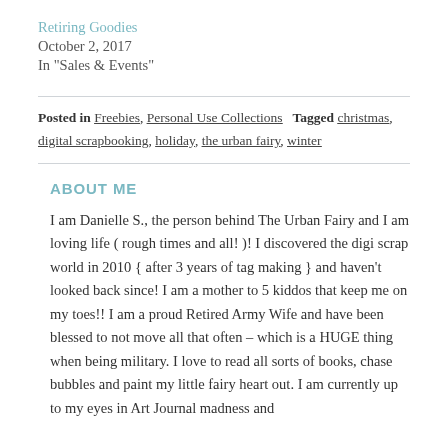Retiring Goodies
October 2, 2017
In "Sales & Events"
Posted in Freebies, Personal Use Collections  Tagged christmas, digital scrapbooking, holiday, the urban fairy, winter
ABOUT ME
I am Danielle S., the person behind The Urban Fairy and I am loving life ( rough times and all! )! I discovered the digi scrap world in 2010 { after 3 years of tag making } and haven't looked back since! I am a mother to 5 kiddos that keep me on my toes!! I am a proud Retired Army Wife and have been blessed to not move all that often – which is a HUGE thing when being military. I love to read all sorts of books, chase bubbles and paint my little fairy heart out. I am currently up to my eyes in Art Journal madness and